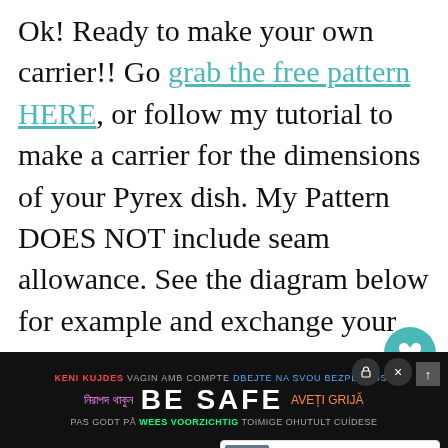Ok! Ready to make your own carrier!! Go grab the free pattern HERE, or follow my tutorial to make a carrier for the dimensions of your Pyrex dish. My Pattern DOES NOT include seam allowance. See the diagram below for example and exchange your measurements into the pattern if your dish is a different size.
[Figure (screenshot): Partial view of a sewing pattern diagram at the bottom of the page, mostly cropped]
[Figure (screenshot): Safety awareness banner in multiple languages at the bottom: 'BE SAFE' with text in multiple languages including Bengali, Romanian, Finnish, Spanish, Dutch etc.]